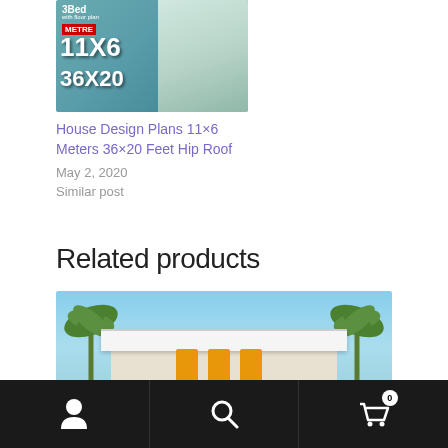[Figure (photo): Thumbnail image of a house design plan showing 3Bed with floor plan, 11x6 meters, 36x20 feet, hip roof style, with a rendered house exterior]
House Design Plans 11×6 Meters 36×20 Feet Hip Roof
May 2, 2020
Similar post
Related products
[Figure (photo): Rendered image of a modern house exterior with orange/yellow pillars, white flat roof, palm trees on both sides, blue sky background]
Navigation bar with user icon, search icon, and cart icon with 0 badge